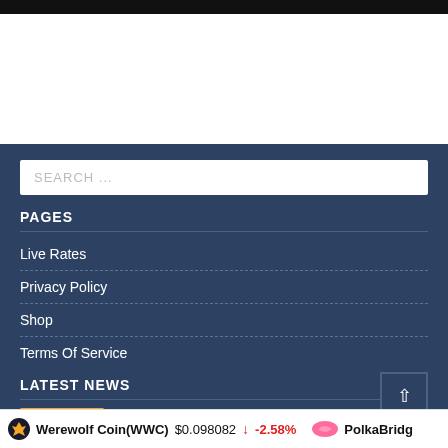[Figure (screenshot): Black header bar at the top of the page]
[Figure (screenshot): Search input box with placeholder text SEARCH ...]
PAGES
Live Rates
Privacy Policy
Shop
Terms Of Service
LATEST NEWS
[Figure (illustration): Cryptocurrency coin thumbnail image with wolf/fox face icon on gold background]
10 Best ERC20 Tokens to Buy Now
August 31, 2023 · 8
Werewolf Coin(WWC) $0.098082 ↓ -2.58% PolkaBridg...